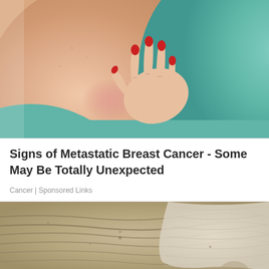[Figure (photo): Close-up photo of a woman's chest/neckline area, showing reddened skin. A hand with red nail polish is touching the chest area. The woman is wearing a teal/turquoise top.]
Signs of Metastatic Breast Cancer - Some May Be Totally Unexpected
Cancer | Sponsored Links
[Figure (photo): Close-up photo of elderly person's aged, wrinkled face/skin with dry, flaky texture. A white cream or mask product is applied on parts of the face.]